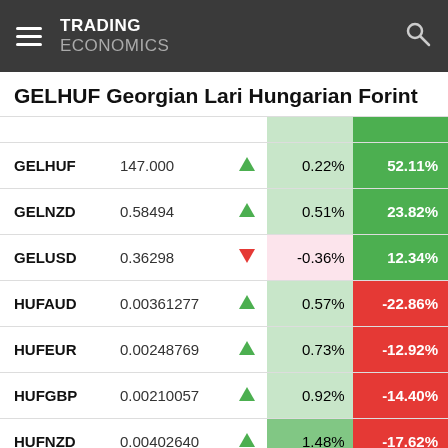TRADING ECONOMICS
GELHUF Georgian Lari Hungarian Forint
|  |  |  |  |  |
| --- | --- | --- | --- | --- |
| GELHUF | 147.000 | ▲ | 0.22% | 52.11% |
| GELNZD | 0.58494 | ▲ | 0.51% | 23.82% |
| GELUSD | 0.36298 | ▼ | -0.36% | 12.34% |
| HUFAUD | 0.00361277 | ▲ | 0.57% | -22.86% |
| HUFEUR | 0.00248769 | ▲ | 0.73% | -12.92% |
| HUFGBP | 0.00210057 | ▲ | 0.92% | -14.40% |
| HUFNZD | 0.00402640 | ▲ | 1.48% | -17.62% |
| HUFUSD | 0.00248429 | ▲ | 0.02% | -25.69% |